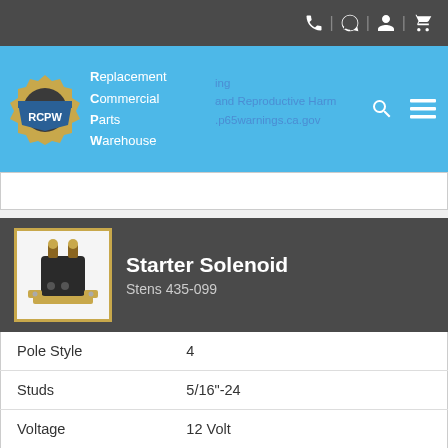RCPW - Replacement Commercial Parts Warehouse
[Figure (screenshot): RCPW logo with gear and banner, blue background header with brand name]
Starter Solenoid
Stens 435-099
| Property | Value |
| --- | --- |
| Pole Style | 4 |
| Studs | 5/16"-24 |
| Voltage | 12 Volt |
| Replaces | LAWN-BOY 740207 TORO 110167, 28-4210, 284210, 47-1910, 471910 |
View More Info